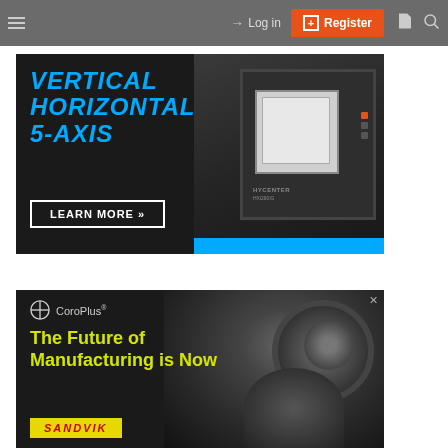Log in | Register
[Figure (photo): Advertisement for Hyundai Hycenter HXi260iG machining center. Dark background with cyan text: VERTICAL HORIZONTAL 5-AXIS. LEARN MORE button. Image of large CNC machining center on right.]
[Figure (photo): Advertisement for Sandvik CoroPlus. Dark background with robotic arm/gear machinery. CoroPlus logo. Yellow text: The Future of Manufacturing is Now. Yellow Sandvik logo at bottom.]